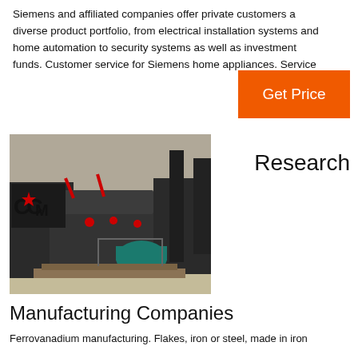Siemens and affiliated companies offer private customers a diverse product portfolio, from electrical installation systems and home automation to security systems as well as investment funds. Customer service for Siemens home appliances. Service
[Figure (other): Orange 'Get Price' button]
[Figure (photo): Industrial heavy machinery (crusher/mill equipment) on a factory floor with a CCM logo visible and teal electric motor attached]
Research
Manufacturing Companies
Ferrovanadium manufacturing. Flakes, iron or steel, made in iron